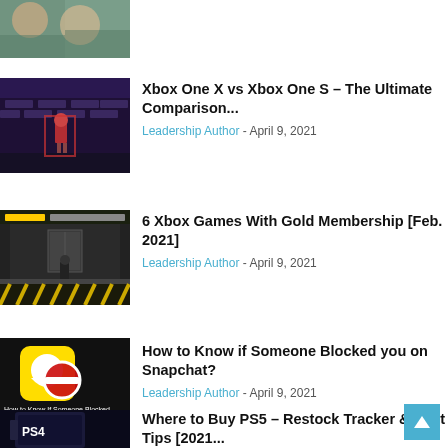[Figure (photo): Partial thumbnail of an article at the top, cropped image of people]
[Figure (screenshot): Xbox game screenshot with dark purple background showing a game level]
Xbox One X vs Xbox One S – The Ultimate Comparison...
Leadership Author - April 9, 2021
[Figure (screenshot): Xbox game screenshot showing a character in an industrial setting with yellow floor markings]
6 Xbox Games With Gold Membership [Feb. 2021]
Leadership Author - April 9, 2021
[Figure (screenshot): Snapchat app with black background showing yellow Snapchat icon with a red no-entry symbol and text 'How to Know If Someone Blocked You on Snapchat?']
How to Know if Someone Blocked you on Snapchat?
Leadership Author - April 9, 2021
[Figure (photo): PS4/PS5 console box in dark blue background]
Where to Buy PS5 – Restock Tracker & Best Tips [2021...